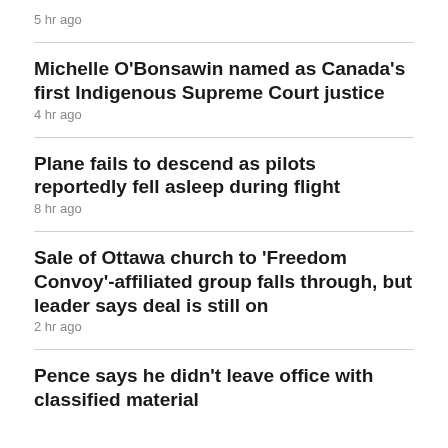5 hr ago
Michelle O'Bonsawin named as Canada's first Indigenous Supreme Court justice
4 hr ago
Plane fails to descend as pilots reportedly fell asleep during flight
8 hr ago
Sale of Ottawa church to 'Freedom Convoy'-affiliated group falls through, but leader says deal is still on
2 hr ago
Pence says he didn't leave office with classified material